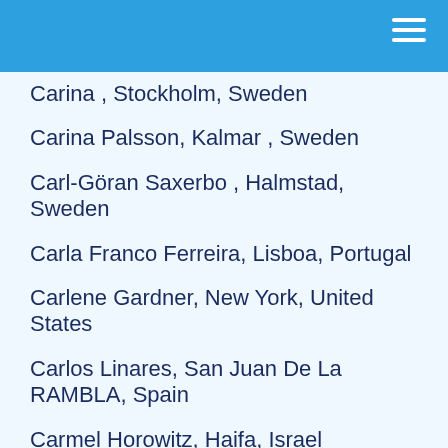Carina , Stockholm, Sweden
Carina Palsson, Kalmar , Sweden
Carl-Göran Saxerbo , Halmstad, Sweden
Carla Franco Ferreira, Lisboa, Portugal
Carlene Gardner, New York, United States
Carlos Linares, San Juan De La RAMBLA, Spain
Carmel Horowitz, Haifa, Israel
Carmit Netanel , Gezer, Israel
Carola M. Rach, Frankfurt , Germany
Carola Schönfeld, NRW Ratingen , Germany
Carolin Fondis, Köln, Germany
Carolina Hernández , Monterrey , Mexico
Carolina Ludvigsson, Umeå, Sweden
CAROLINA MARTINEZ R, Bogotá , Colombia